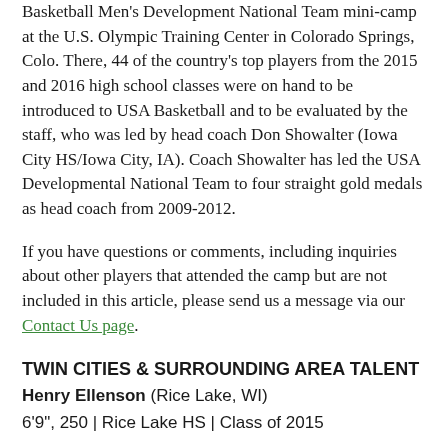Basketball Men's Development National Team mini-camp at the U.S. Olympic Training Center in Colorado Springs, Colo. There, 44 of the country's top players from the 2015 and 2016 high school classes were on hand to be introduced to USA Basketball and to be evaluated by the staff, who was led by head coach Don Showalter (Iowa City HS/Iowa City, IA). Coach Showalter has led the USA Developmental National Team to four straight gold medals as head coach from 2009-2012.
If you have questions or comments, including inquiries about other players that attended the camp but are not included in this article, please send us a message via our Contact Us page.
TWIN CITIES & SURROUNDING AREA TALENT
Henry Ellenson (Rice Lake, WI)
6'9", 250 | Rice Lake HS | Class of 2015
October 2012 Notes
You may hear Ellenson called a center by some, but that's